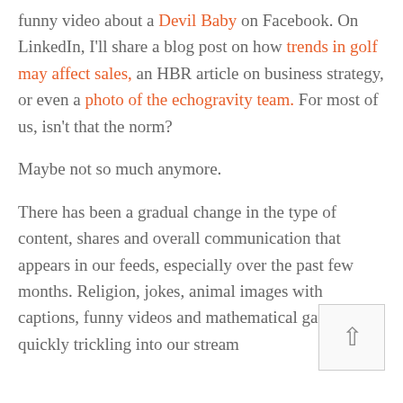funny video about a Devil Baby on Facebook. On LinkedIn, I'll share a blog post on how trends in golf may affect sales, an HBR article on business strategy, or even a photo of the echogravity team. For most of us, isn't that the norm?

Maybe not so much anymore.

There has been a gradual change in the type of content, shares and overall communication that appears in our feeds, especially over the past few months. Religion, jokes, animal images with captions, funny videos and mathematical games are quickly trickling into our stream